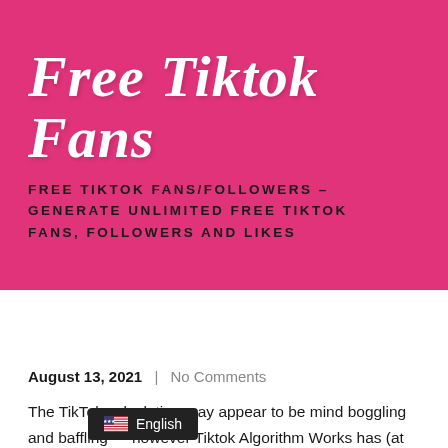Free Tiktok Fans
FREE TIKTOK FANS/FOLLOWERS – GENERATE UNLIMITED FREE TIKTOK FANS, FOLLOWERS AND LIKES
Menu
August 13, 2021  |  No Comments
The TikTok calculation may appear to be mind boggling and baffling — however Tiktok Algorithm Works has (at long last!) uncovered how it works!